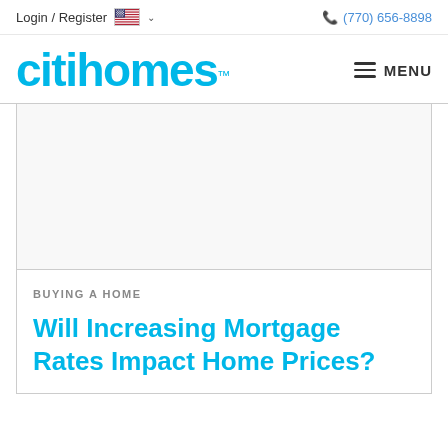Login / Register  (770) 656-8898
[Figure (logo): citihomes logo in cyan/blue color with trademark symbol]
MENU
[Figure (other): Advertisement banner area - blank gray box]
BUYING A HOME
Will Increasing Mortgage Rates Impact Home Prices?